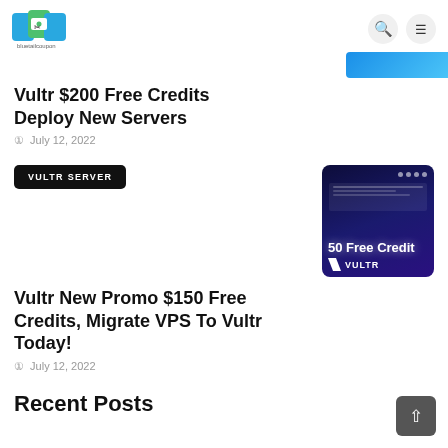[Figure (logo): bluetailcoupon logo with text label below]
[Figure (illustration): Blue rounded rectangle banner cropped at top right]
Vultr $200 Free Credits Deploy New Servers
July 12, 2022
VULTR SERVER
[Figure (screenshot): Dark navy promotional image showing '50 Free Credit' text and VULTR logo with V icon]
Vultr New Promo $150 Free Credits, Migrate VPS To Vultr Today!
July 12, 2022
Recent Posts